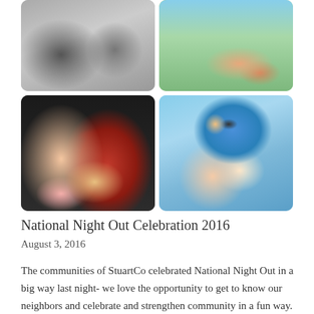[Figure (photo): A 2x2 grid of event photos: top-left is a black and white photo of people at a table, top-right is an outdoor color photo showing a hand on a railing, bottom-left is a dark photo booth shot with two women one wearing a red hat, bottom-right is an outdoor selfie of a man in a blue shirt and a woman smiling.]
National Night Out Celebration 2016
August 3, 2016
The communities of StuartCo celebrated National Night Out in a big way last night- we love the opportunity to get to know our neighbors and celebrate and strengthen community in a fun way. Here are just a few highlights